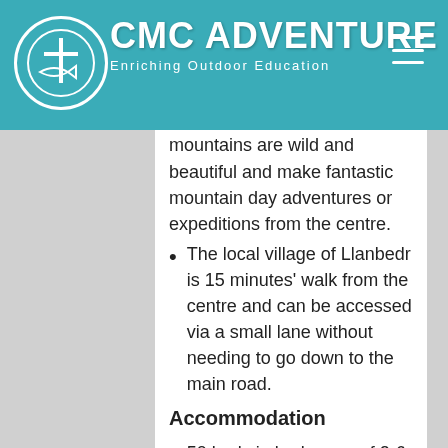CMC ADVENTURE – Enriching Outdoor Education
There are also beautiful local walks surrounding the centre itself. The centre is situated at the foot of the Rhinog Mountain Range. These mountains are wild and beautiful and make fantastic mountain day adventures or expeditions from the centre.
The local village of Llanbedr is 15 minutes' walk from the centre and can be accessed via a small lane without needing to go down to the main road.
Accommodation
50 beds in bedrooms of 2-6 beds per room.
Each bedroom is ensuite.